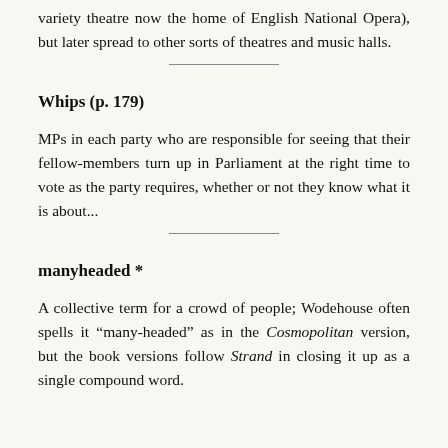variety theatre now the home of English National Opera), but later spread to other sorts of theatres and music halls.
Whips (p. 179)
MPs in each party who are responsible for seeing that their fellow-members turn up in Parliament at the right time to vote as the party requires, whether or not they know what it is about...
manyheaded *
A collective term for a crowd of people; Wodehouse often spells it “many-headed” as in the Cosmopolitan version, but the book versions follow Strand in closing it up as a single compound word.